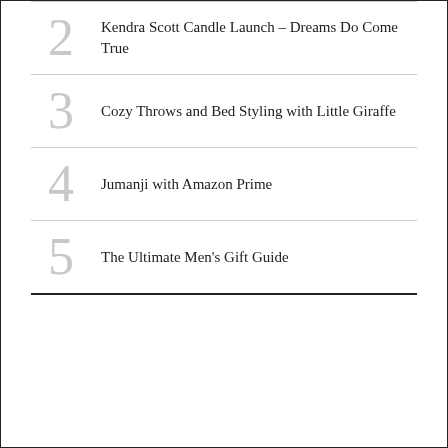2. Kendra Scott Candle Launch – Dreams Do Come True
3. Cozy Throws and Bed Styling with Little Giraffe
4. Jumanji with Amazon Prime
5. The Ultimate Men's Gift Guide